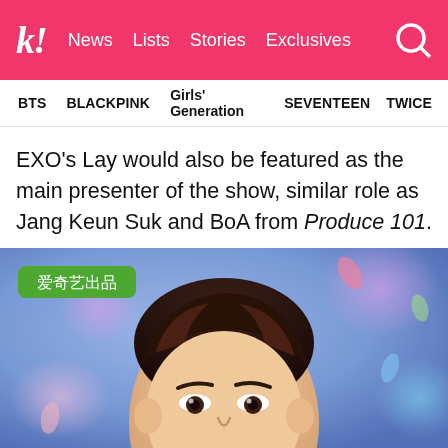k! News Lists Stories Exclusives
BTS  BLACKPINK  Girls' Generation  SEVENTEEN  TWICE
EXO's Lay would also be featured as the main presenter of the show, similar role as Jang Keun Suk and BoA from Produce 101.
[Figure (photo): Photo of EXO's Lay with a colorful blurred blue/purple background and an iQiyi (爱奇艺出品) green badge in the top left corner. Shows the face and upper head of a young Asian man with styled dark hair.]